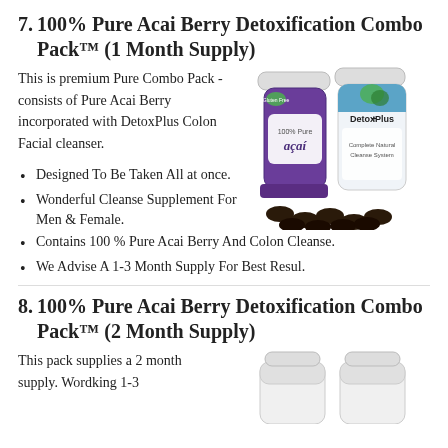7. 100% Pure Acai Berry Detoxification Combo Pack™ (1 Month Supply)
This is premium Pure Combo Pack - consists of Pure Acai Berry incorporated with DetoxPlus Colon Facial cleanser.
[Figure (photo): Two supplement bottles: 100% Pure Acai (purple) and DetoxPlus (white/blue), with dark capsules in front]
Designed To Be Taken All at once.
Wonderful Cleanse Supplement For Men & Female.
Contains 100 % Pure Acai Berry And Colon Cleanse.
We Advise A 1-3 Month Supply For Best Resul.
8. 100% Pure Acai Berry Detoxification Combo Pack™ (2 Month Supply)
This pack supplies a 2 month supply. Wordking 1-3...
[Figure (photo): Two white supplement bottles partially visible at bottom of page]